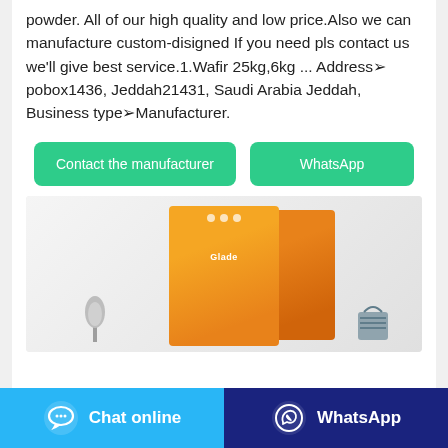powder. All of our high quality and low price.Also we can manufacture custom-disigned If you need pls contact us we'll give best service.1.Wafir 25kg,6kg ... Address→pobox1436, Jeddah21431, Saudi Arabia Jeddah, Business type→Manufacturer.
[Figure (other): Two green buttons: 'Contact the manufacturer' and 'WhatsApp']
[Figure (photo): Product photo showing orange boxes of Glade or similar cleaning/washing powder on a white surface with a plant and blue basket in the background.]
[Figure (other): Footer bar with two buttons: 'Chat online' (blue) with chat bubble icon, and 'WhatsApp' (dark blue) with WhatsApp icon.]